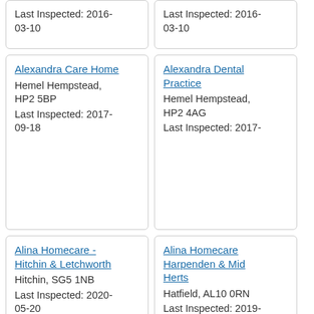Last Inspected: 2016-03-10
Last Inspected: 2016-03-10
Alexandra Care Home
Hemel Hempstead, HP2 5BP
Last Inspected: 2017-09-18
Alexandra Dental Practice
Hemel Hempstead, HP2 4AG
Last Inspected: 2017-
Alina Homecare - Hitchin & Letchworth
Hitchin, SG5 1NB
Last Inspected: 2020-05-20
Alina Homecare Harpenden & Mid Herts
Hatfield, AL10 0RN
Last Inspected: 2019-
Alina Homecare Hemel Hempstead
Hemel Hempstead, HP2 5HL
Last Inspected: 2019-
Alina Homecare Specialist Care - Hertfordshire
Hatfield, AL10 0RN
Last Inspected: 2019-
Alina Homecare Stevenage Ltd
Stevenage, SG1 2EE
Allington Court Care Home
St Albans, AL2 3TN